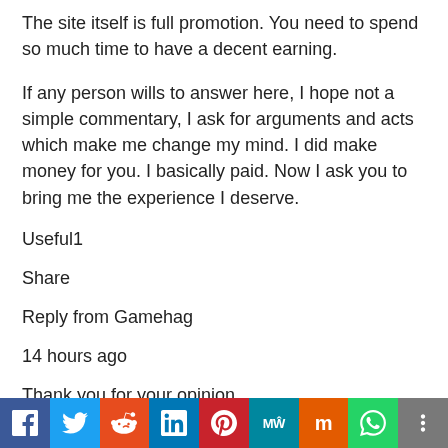The site itself is full promotion. You need to spend so much time to have a decent earning.
If any person wills to answer here, I hope not a simple commentary, I ask for arguments and acts which make me change my mind. I did make money for you. I basically paid. Now I ask you to bring me the experience I deserve.
Useful1
Share
Reply from Gamehag
14 hours ago
Thank you for your opinion.
[Figure (infographic): Social sharing bar with icons for Facebook, Twitter, Reddit, LinkedIn, Pinterest, MeWe, Mix, WhatsApp, and More]